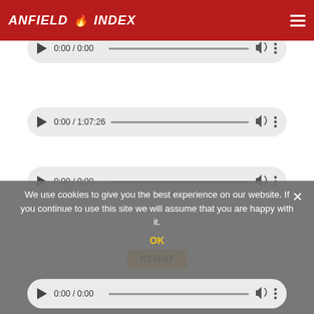ANFIELD INDEX
[Figure (screenshot): Audio player 1 partially visible at top: 0:00 / 0:00]
[Figure (screenshot): Audio player 2: 0:00 / 1:07:26]
[Figure (screenshot): Audio player 3: 0:00 / 0:00]
KENN7
We use cookies to give you the best experience on our website. If you continue to use this site we will assume that you are happy with it.
OK
[Figure (screenshot): Audio player 4 (behind cookie overlay): 0:00 / 0:00]